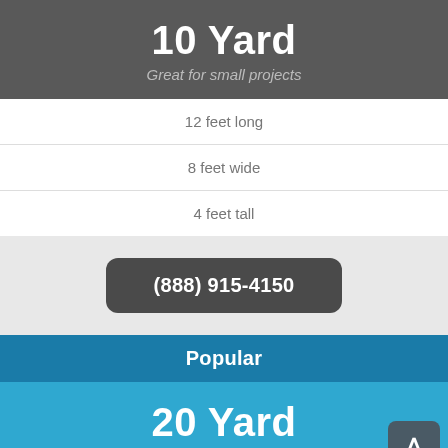10 Yard
Great for small projects
12 feet long
8 feet wide
4 feet tall
(888) 915-4150
Popular
20 Yard
For moderate sized cleanouts